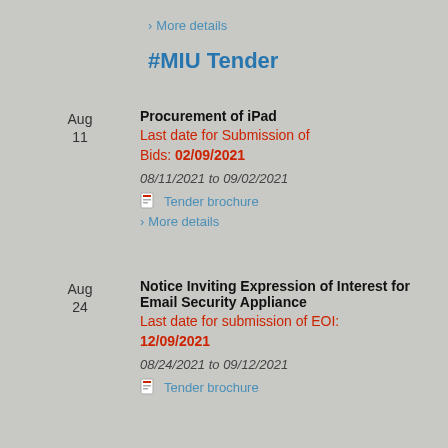> More details
#MIU Tender
Aug
11
Procurement of iPad
Last date for Submission of Bids: 02/09/2021
08/11/2021 to 09/02/2021
Tender brochure
> More details
Aug
24
Notice Inviting Expression of Interest for Email Security Appliance
Last date for submission of EOI:
12/09/2021
08/24/2021 to 09/12/2021
Tender brochure